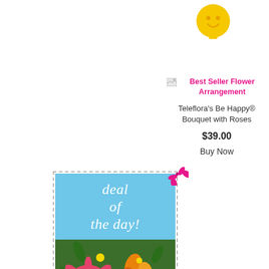[Figure (photo): Yellow smiley face character/vase at top right]
[Figure (photo): Best Seller Flower Arrangement image placeholder icon]
Best Seller Flower Arrangement
Teleflora's Be Happy® Bouquet with Roses
$39.00
Buy Now
[Figure (photo): Deal of the day promotional image showing colorful flower bouquet with pink gerberas and mixed flowers on a blue background with 'deal of the day!' text overlay and a pink scissors icon at the top right corner, with dashed border frame]